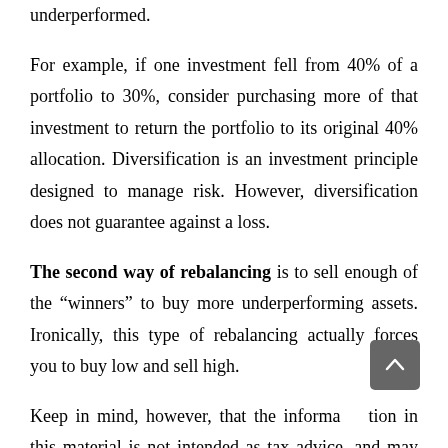underperformed.
For example, if one investment fell from 40% of a portfolio to 30%, consider purchasing more of that investment to return the portfolio to its original 40% allocation. Diversification is an investment principle designed to manage risk. However, diversification does not guarantee against a loss.
The second way of rebalancing is to sell enough of the “winners” to buy more underperforming assets. Ironically, this type of rebalancing actually forces you to buy low and sell high.
Keep in mind, however, that the information in this material is not intended as tax advice, and may not